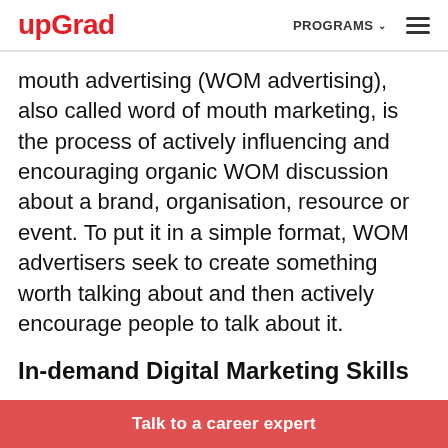upGrad | PROGRAMS
mouth advertising (WOM advertising), also called word of mouth marketing, is the process of actively influencing and encouraging organic WOM discussion about a brand, organisation, resource or event. To put it in a simple format, WOM advertisers seek to create something worth talking about and then actively encourage people to talk about it.
In-demand Digital Marketing Skills
Talk to a career expert